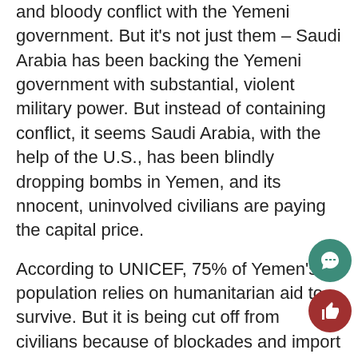and bloody conflict with the Yemeni government. But it's not just them – Saudi Arabia has been backing the Yemeni government with substantial, violent military power. But instead of containing conflict, it seems Saudi Arabia, with the help of the U.S., has been blindly dropping bombs in Yemen, and its nnocent, uninvolved civilians are paying the capital price.
According to UNICEF, 75% of Yemen's population relies on humanitarian aid to survive. But it is being cut off from civilians because of blockades and import restrictions. The bombings and fighting have led to devastation: infrastructure providing water, food, and health services has been destroyed; the salaries of millions of civil servants have been salaries cut off; Yemen's children are out of school and dying in the streets of starvation. Intense bombing and lack of funding has left half of all health facilities in Yemen shut down or in ruins. Each day, hundreds of desperate